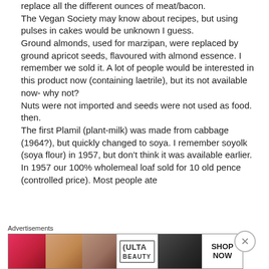replace all the different ounces of meat/bacon.
The Vegan Society may know about recipes, but using pulses in cakes would be unknown I guess.
Ground almonds, used for marzipan, were replaced by ground apricot seeds, flavoured with almond essence. I remember we sold it. A lot of people would be interested in this product now (containing laetrile), but its not available now- why not?
Nuts were not imported and seeds were not used as food. then.
The first Plamil (plant-milk) was made from cabbage (1964?), but quickly changed to soya. I remember soyolk (soya flour) in 1957, but don't think it was available earlier.
In 1957 our 100% wholemeal loaf sold for 10 old pence (controlled price). Most people ate
[Figure (other): Ulta Beauty advertisement banner with cosmetics imagery including lipstick, makeup brush, eye closeup, Ulta logo, dramatic eye makeup, and SHOP NOW call to action]